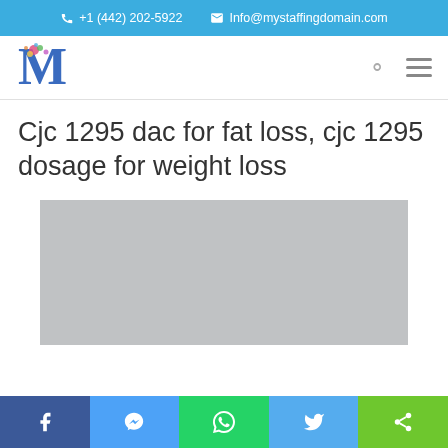+1 (442) 202-5922  Info@mystaffingdomain.com
[Figure (logo): Decorative letter M logo with floral/colorful design]
Cjc 1295 dac for fat loss, cjc 1295 dosage for weight loss
[Figure (photo): Gray placeholder image rectangle]
Social share bar: Facebook, Messenger, WhatsApp, Twitter, Share